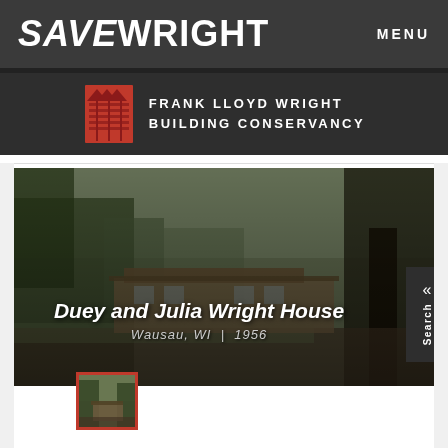SAVEWRIGHT   MENU
[Figure (logo): Frank Lloyd Wright Building Conservancy logo with red architectural icon and white text]
[Figure (photo): Exterior photo of Duey and Julia Wright House, Wausau, WI, 1956. Tree-lined view of low-profile prairie style house.]
Duey and Julia Wright House
Wausau, WI  |  1956
[Figure (photo): Small thumbnail image of Duey and Julia Wright House with red border]